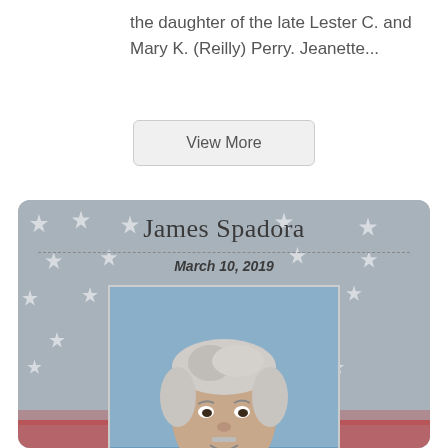the daughter of the late Lester C. and Mary K. (Reilly) Perry. Jeanette...
View More
James Spadora
March 10, 2019
[Figure (photo): Portrait photo of elderly man (James Spadora) smiling, with white/grey hair, wearing dark shirt, against blue sky background. Card has American flag stars background in grey.]
Veteran
James C. Spadora Obituary  James “Jim” Spadora, 90, of Vero Beach, FL, formerly of Prompton, passed away Sunday, March 10